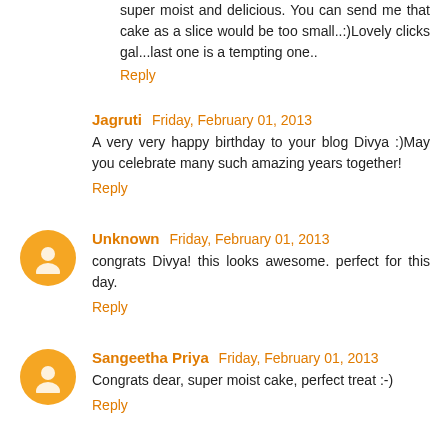super moist and delicious. You can send me that cake as a slice would be too small..:)Lovely clicks gal...last one is a tempting one..
Reply
Jagruti  Friday, February 01, 2013
A very very happy birthday to your blog Divya :)May you celebrate many such amazing years together!
Reply
Unknown  Friday, February 01, 2013
congrats Divya! this looks awesome. perfect for this day.
Reply
Sangeetha Priya  Friday, February 01, 2013
Congrats dear, super moist cake, perfect treat :-)
Reply